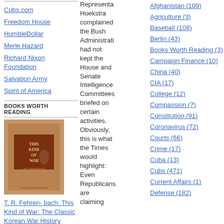Cubs.com
Freedom House
HumbleDollar
Merle Hazard
Richard Nixon Foundation
Salvation Army
Spirit of America
BOOKS WORTH READING
[Figure (photo): Book cover: This Kind of War by T.R. Fehrenbach - The Classic Korean War History]
T. R. Fehren- bach: This Kind of War: The Classic Korean War History
Representative Hoekstra complained the Bush Administration had not kept the House and Senate Intelligence Committees briefed on certain activities. Obviously, this is what the Times would highlight: Even Republicans are claiming
Afghanistan (109)
Agriculture (3)
Baseball (108)
Berlin (43)
Books Worth Reading (3)
Campaign Finance (10)
China (40)
CIA (17)
College (12)
Compassion (7)
Constitution (91)
Coronavirus (72)
Courts (66)
Crime (17)
Cuba (13)
Cubs (471)
Current Affairs (1)
Defense (182)